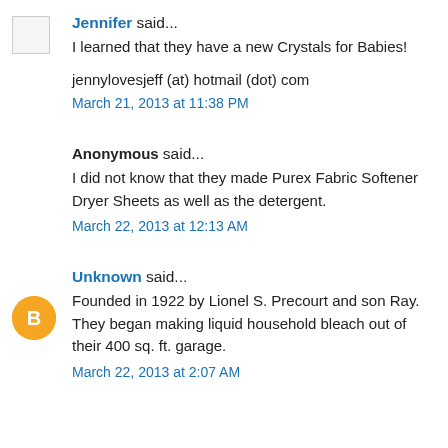Jennifer said...
I learned that they have a new Crystals for Babies!
jennylovesjeff (at) hotmail (dot) com
March 21, 2013 at 11:38 PM
Anonymous said...
I did not know that they made Purex Fabric Softener Dryer Sheets as well as the detergent.
March 22, 2013 at 12:13 AM
Unknown said...
Founded in 1922 by Lionel S. Precourt and son Ray. They began making liquid household bleach out of their 400 sq. ft. garage.
March 22, 2013 at 2:07 AM